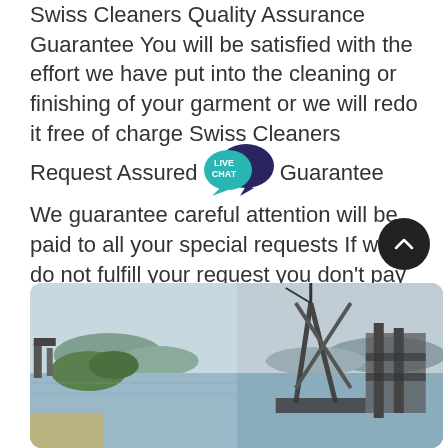Swiss Cleaners Quality Assurance Guarantee You will be satisfied with the effort we have put into the cleaning or finishing of your garment or we will redo it free of charge Swiss Cleaners Request Assured Guarantee We guarantee careful attention will be paid to all your special requests If we do not fulfill your request you don't pay
[Figure (other): Live chat speech bubble icon in teal/dark blue with text LIVE CHAT]
Get price
[Figure (photo): Wide photo showing a harbor/coastal industrial scene split into two panels: left panel shows an island with vegetation and industrial structures in water; right panel shows construction cranes and industrial machinery over water with mountains in background]